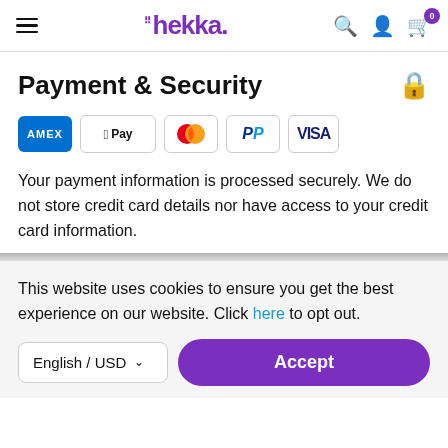hekka. [navigation bar with search, account, cart icons]
Payment & Security
[Figure (logo): Payment method icons: American Express (AMEX), Apple Pay, Mastercard, PayPal, Visa]
Your payment information is processed securely. We do not store credit card details nor have access to your credit card information.
This website uses cookies to ensure you get the best experience on our website. Click here to opt out.
English / USD  Accept